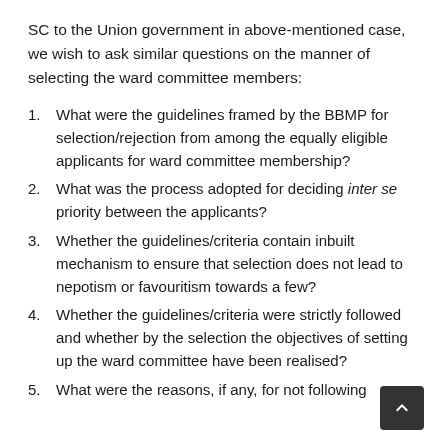SC to the Union government in above-mentioned case, we wish to ask similar questions on the manner of selecting the ward committee members:
What were the guidelines framed by the BBMP for selection/rejection from among the equally eligible applicants for ward committee membership?
What was the process adopted for deciding inter se priority between the applicants?
Whether the guidelines/criteria contain inbuilt mechanism to ensure that selection does not lead to nepotism or favouritism towards a few?
Whether the guidelines/criteria were strictly followed and whether by the selection the objectives of setting up the ward committee have been realised?
What were the reasons, if any, for not following